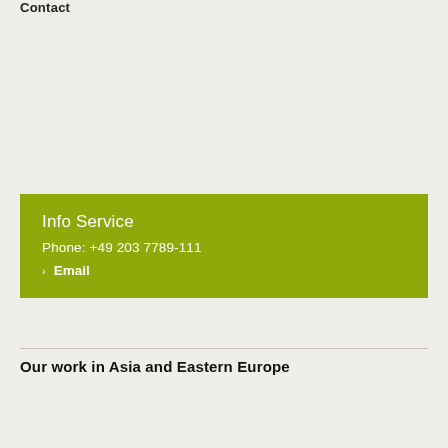Contact
Info Service
Phone: +49 203 7789-111
> Email
Our work in Asia and Eastern Europe